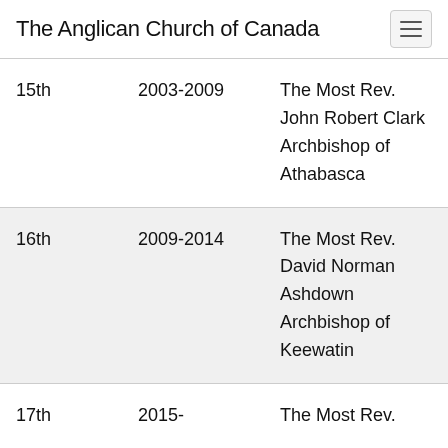The Anglican Church of Canada
| 15th | 2003-2009 | The Most Rev. John Robert Clark Archbishop of Athabasca |
| 16th | 2009-2014 | The Most Rev. David Norman Ashdown Archbishop of Keewatin |
| 17th | 2015- | The Most Rev. |